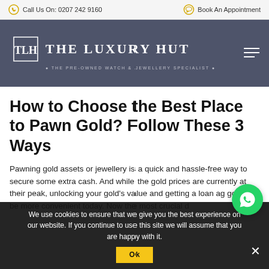Call Us On: 0207 242 9160 | Book An Appointment
[Figure (logo): The Luxury Hut logo with TLH monogram in a square frame, text THE LUXURY HUT, subtitle THE PRE-OWNED WATCH & JEWELLERY SPECIALIST]
How to Choose the Best Place to Pawn Gold? Follow These 3 Ways
Pawning gold assets or jewellery is a quick and hassle-free way to secure some extra cash. And while the gold prices are currently at their peak, unlocking your gold's value and getting a loan ag gold will be more convenient today. Now the most crucial d
We use cookies to ensure that we give you the best experience on our website. If you continue to use this site we will assume that you are happy with it.